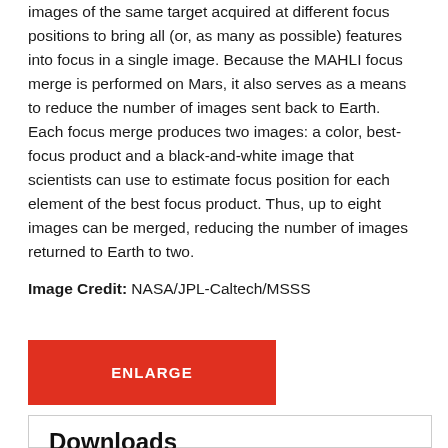images of the same target acquired at different focus positions to bring all (or, as many as possible) features into focus in a single image. Because the MAHLI focus merge is performed on Mars, it also serves as a means to reduce the number of images sent back to Earth. Each focus merge produces two images: a color, best-focus product and a black-and-white image that scientists can use to estimate focus position for each element of the best focus product. Thus, up to eight images can be merged, reducing the number of images returned to Earth to two.
Image Credit: NASA/JPL-Caltech/MSSS
ENLARGE
Downloads
Sol 2480: Mars Hand Lens Imager (MAHLI)